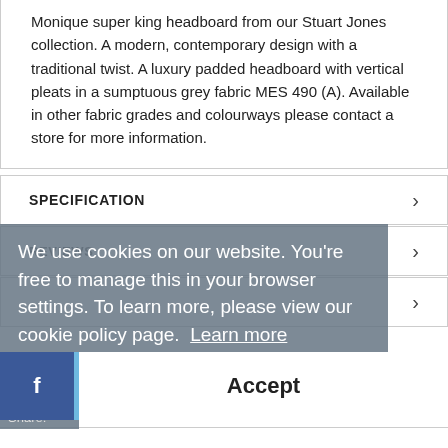Monique super king headboard from our Stuart Jones collection. A modern, contemporary design with a traditional twist. A luxury padded headboard with vertical pleats in a sumptuous grey fabric MES 490 (A). Available in other fabric grades and colourways please contact a store for more information.
SPECIFICATION
REVIEWS
We use cookies on our website. You're free to manage this in your browser settings. To learn more, please view our cookie policy page.  Learn more
Share:
Accept